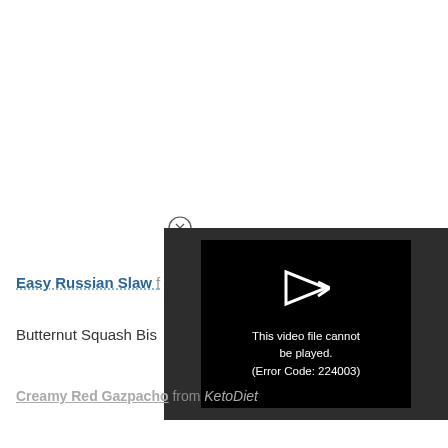[Figure (screenshot): A video player overlay showing a close button (circle with X) and a black video frame with a play arrow icon and error message: 'This video file cannot be played. (Error Code: 224003)']
Easy Russian Slaw …
Butternut Squash Bis…
Creamy Red Gazpacho from KetoDiet